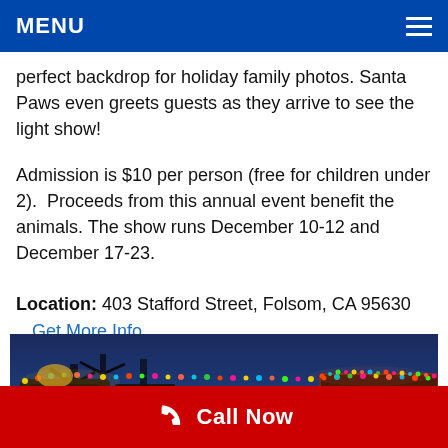MENU
perfect backdrop for holiday family photos. Santa Paws even greets guests as they arrive to see the light show!
Admission is $10 per person (free for children under 2).  Proceeds from this annual event benefit the animals. The show runs December 10-12 and December 17-23.
Location: 403 Stafford Street, Folsom, CA 95630
Get More Info
[Figure (photo): Nighttime photo of a zoo entrance decorated with colorful holiday lights including multicolored string lights on archways and structures, with trees visible in the background against a dark blue sky. A zoo sign is visible on the right side.]
Call Now